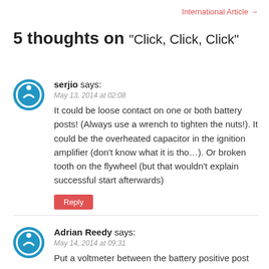International Article →
5 thoughts on “Click, Click, Click”
serjio says:
May 13, 2014 at 02:08
It could be loose contact on one or both battery posts! (Always use a wrench to tighten the nuts!). It could be the overheated capacitor in the ignition amplifier (don’t know what it is tho…). Or broken tooth on the flywheel (but that wouldn’t explain successful start afterwards)
Reply
Adrian Reedy says:
May 14, 2014 at 09:31
Put a voltmeter between the battery positive post